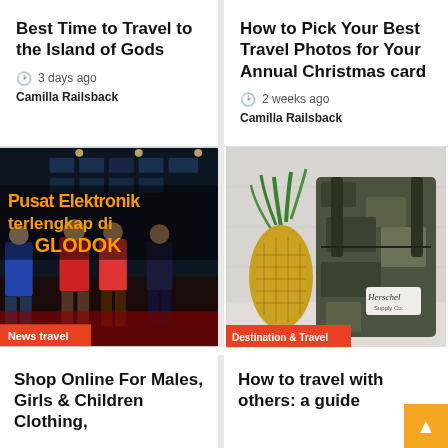Best Time to Travel to the Island of Gods
3 days ago  Camilla Railsback
How to Pick Your Best Travel Photos for Your Annual Christmas card
2 weeks ago  Camilla Railsback
[Figure (photo): Group of people standing in an electronics store with text overlay reading 'Pusat Elektronik terlengkap di GLODOK' in orange/yellow, with a red badge 'News travel']
[Figure (photo): A pineapple next to a camouflage backpack (Herschel brand) on a light surface, with a red badge 'Destination & Travel']
Shop Online For Males, Girls & Children Clothing,
How to travel with others: a guide